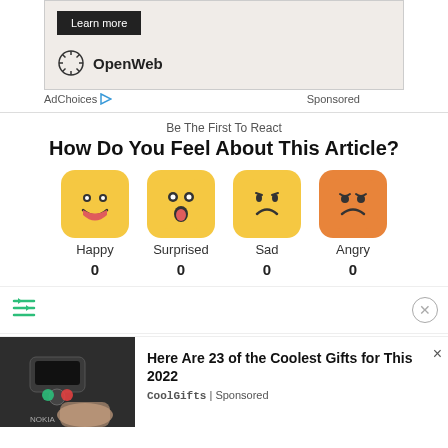[Figure (other): Ad banner with Learn more button and OpenWeb logo on beige background]
AdChoices ▷   Sponsored
Be The First To React
How Do You Feel About This Article?
[Figure (infographic): Four emoji reaction buttons: Happy (0), Surprised (0), Sad (0), Angry (0)]
[Figure (other): Filter/sort icon bar with close button]
[Figure (other): Bottom advertisement: Nokia-related image on left, text: Here Are 23 of the Coolest Gifts for This 2022, CoolGifts | Sponsored]